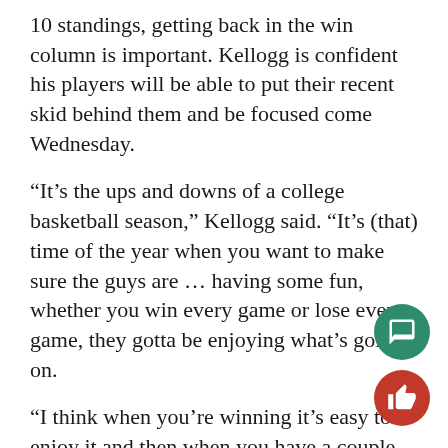10 standings, getting back in the win column is important. Kellogg is confident his players will be able to put their recent skid behind them and be focused come Wednesday.
“It’s the ups and downs of a college basketball season,” Kellogg said. “It’s (that) time of the year when you want to make sure the guys are … having some fun, whether you win every game or lose every game, they gotta be enjoying what’s going on.
“I think when you’re winning it’s easy to enjoy it and then when you have a couple of losses, I gotta make sure these guys are energized and feeling like, ‘Let’s go play.’”
Next up for the Minutemen is a Bonnies team (11-1… 7 A-10) that is also nursing a two-game losing streak. An overtime loss at Richmond on Saturday and a 3-poi… defeat against La Salle last Wednesday have spiraled st…
[Figure (other): Two circular icon buttons in bottom-right corner: a teal/green speech bubble icon and a red thumbs-up icon]